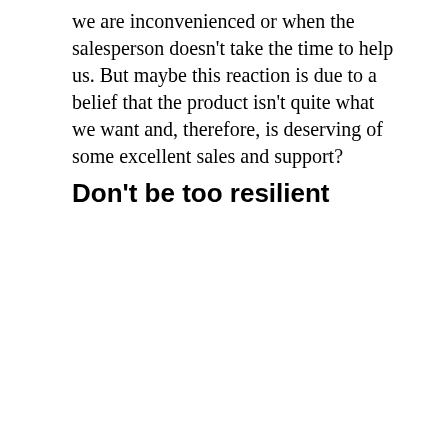we are inconvenienced or when the salesperson doesn't take the time to help us. But maybe this reaction is due to a belief that the product isn't quite what we want and, therefore, is deserving of some excellent sales and support?
Don't be too resilient